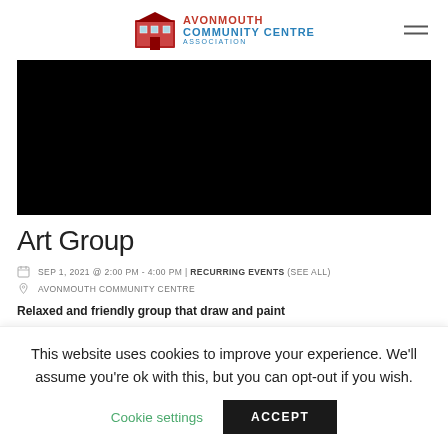AVONMOUTH COMMUNITY CENTRE
[Figure (photo): Black/dark image area, likely a photo of the community centre or event]
Art Group
SEP 1, 2021 @ 2:00 PM - 4:00 PM | RECURRING EVENTS (SEE ALL)
AVONMOUTH COMMUNITY CENTRE
Relaxed and friendly group that draw and paint
This website uses cookies to improve your experience. We'll assume you're ok with this, but you can opt-out if you wish.
Cookie settings    ACCEPT